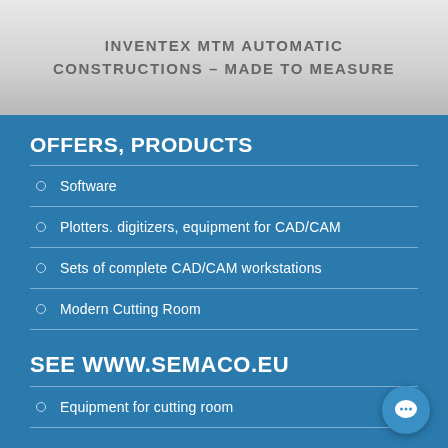INVENTEX MTM AUTOMATIC CONSTRUCTIONS – MADE TO MEASURE
OFFERS, PRODUCTS
Software
Plotters. digitizers, equipment for CAD/CAM
Sets of complete CAD/CAM workstations
Modern Cutting Room
SEE WWW.SEMACO.EU
Equipment for cutting room